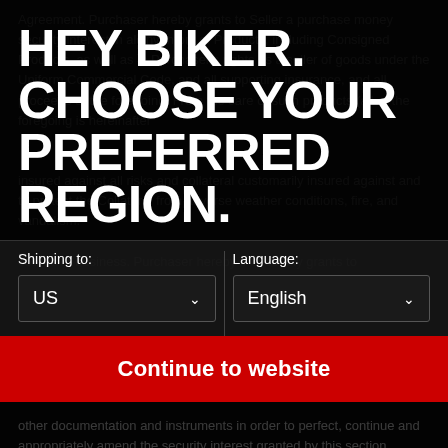Agreement. Purchaser hereby grants to Seller a purchase money security interest in all inventory of Products, including Consigned Products, as well as in Purchaser's rights as a seller of goods under the Uniform Commercial Code, and all supporting insurance, and all proceeds of the foregoing. From the care of such products (all of the foregoing is hereinafter
HEY BIKER. CHOOSE YOUR PREFERRED REGION.
Shipping to:
Language:
US
English
Continue to website
other documentation and instruments in order to perfect, continue and appropriately amend the security interest granted by this section.